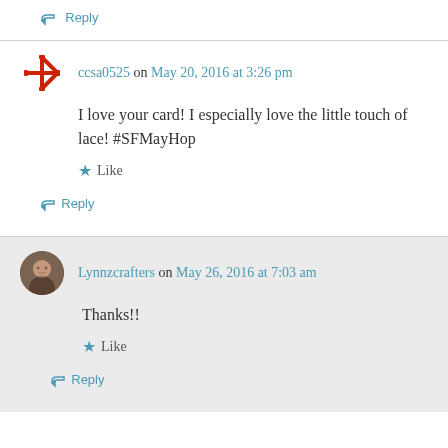↳ Reply
ccsa0525 on May 20, 2016 at 3:26 pm
I love your card! I especially love the little touch of lace! #SFMayHop
★ Like
↳ Reply
Lynnzcrafters on May 26, 2016 at 7:03 am
Thanks!!
★ Like
↳ Reply